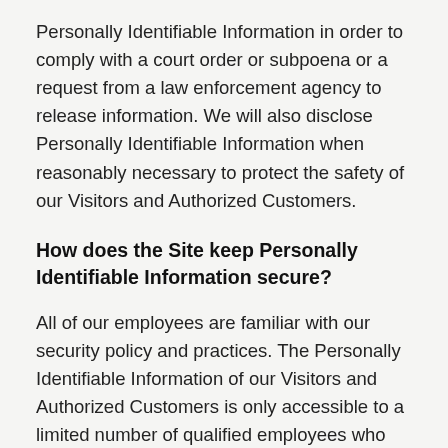Personally Identifiable Information in order to comply with a court order or subpoena or a request from a law enforcement agency to release information. We will also disclose Personally Identifiable Information when reasonably necessary to protect the safety of our Visitors and Authorized Customers.
How does the Site keep Personally Identifiable Information secure?
All of our employees are familiar with our security policy and practices. The Personally Identifiable Information of our Visitors and Authorized Customers is only accessible to a limited number of qualified employees who are given a password in order to gain access to the information. We audit our security systems and processes on a regular basis. Sensitive information, such as credit card numbers or social